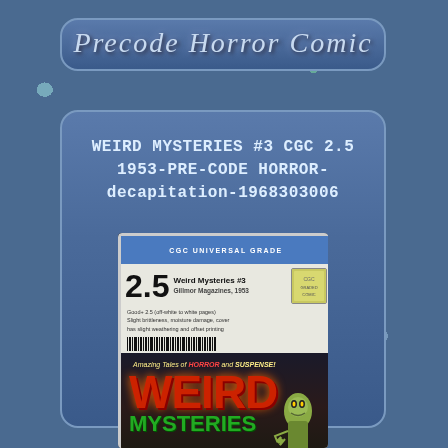Precode Horror Comic
WEIRD MYSTERIES #3 CGC 2.5 1953-PRE-CODE HORROR- decapitation-1968303006
[Figure (photo): CGC graded slab showing Weird Mysteries #3 comic book with grade 2.5, CGC Universal Grade label in blue, and visible comic cover showing WEIRD MYSTERIES title in red and green letters with horror imagery]